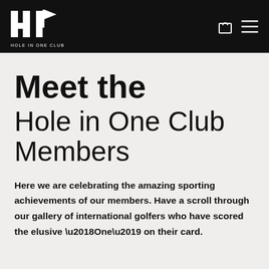HOLE IN ONE CLUB
Meet the Hole in One Club Members
Here we are celebrating the amazing sporting achievements of our members. Have a scroll through our gallery of international golfers who have scored the elusive ‘One’ on their card.